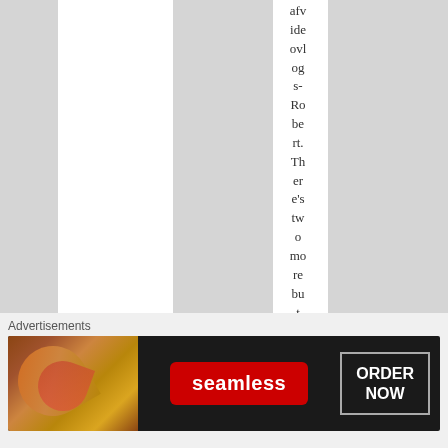afv ide ovl og s- Ro be rt. Th er e's tw o mo re bu t
Advertisements
[Figure (other): Seamless food delivery advertisement banner with pizza image on the left, Seamless logo in red in the center, and ORDER NOW button on the right on dark background]